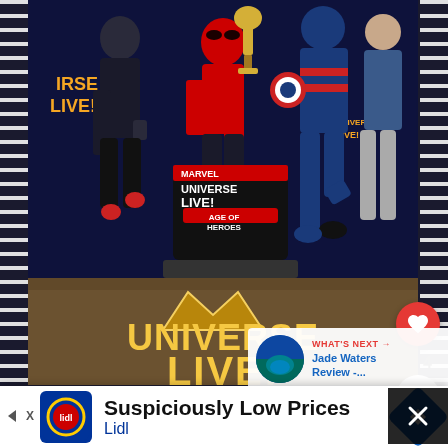[Figure (photo): Group photo of family with children at Marvel Universe Live! Age of Heroes event. A child in Spider-Man face paint and red costume holds a trophy alongside Captain America character and other family members. Marvel Universe LIVE! backdrop visible. Large floor display reads UNIVERSE LIVE! in yellow letters.]
4
[Figure (photo): WHAT'S NEXT thumbnail - Jade Waters Review showing what appears to be a pool or water area. Text: WHAT'S NEXT → Jade Waters Review -...]
Suspiciously Low Prices
Lidl